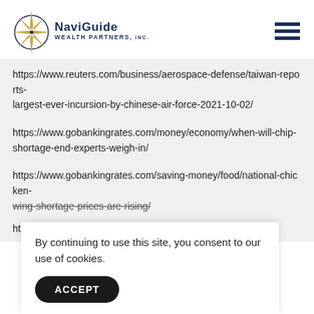NaviGuide Wealth Partners, Inc.
https://www.reuters.com/business/aerospace-defense/taiwan-reports-largest-ever-incursion-by-chinese-air-force-2021-10-02/
https://www.gobankingrates.com/money/economy/when-will-chip-shortage-end-experts-weigh-in/
https://www.gobankingrates.com/saving-money/food/national-chicken-wing-shortage-prices-are-rising/
ht
By continuing to use this site, you consent to our use of cookies.